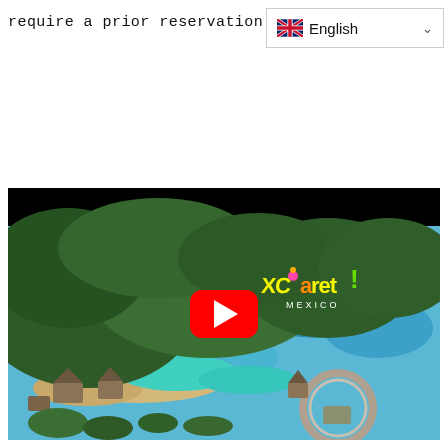require a prior reservation.
[Figure (screenshot): Language selector dropdown showing English with UK flag and chevron arrow]
[Figure (screenshot): Aerial video thumbnail of Xcaret Mexico park showing tropical coastline, beaches, turquoise water, lush jungle, and resort structures. Xcaret Mexico logo visible in upper right. YouTube play button centered on the thumbnail.]